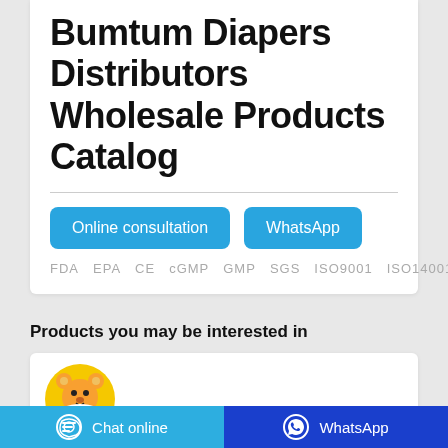Bumtum Diapers Distributors Wholesale Products Catalog
Online consultation   WhatsApp
FDA  EPA  CE  cGMP  GMP  SGS  ISO9001  ISO14001
Products you may be interested in
[Figure (logo): BuBu Bear logo — yellow circular logo with cartoon bear and text BuBu Bear]
Chat online   WhatsApp